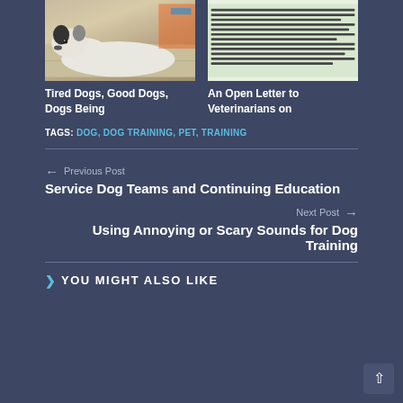[Figure (photo): Photo of a tired dog lying on a tiled floor]
Tired Dogs, Good Dogs, Dogs Being
[Figure (screenshot): Screenshot of text about building a broad movement to educate pet owners on dangers of shock devices]
An Open Letter to Veterinarians on
TAGS: DOG, DOG TRAINING, PET, TRAINING
← Previous Post
Service Dog Teams and Continuing Education
Next Post →
Using Annoying or Scary Sounds for Dog Training
YOU MIGHT ALSO LIKE